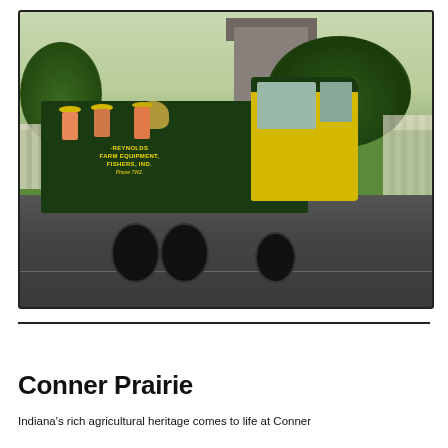[Figure (photo): Vintage color photograph of a green and yellow pickup truck labeled 'REYNOLDS FARM EQUIPMENT, FISHERS, IND. Phone 7W2.' in a parade, with band members wearing yellow hats riding in the truck bed playing instruments including a tuba. Background shows a grass field, trees, a brick building, and parade spectators.]
Conner Prairie
Indiana's rich agricultural heritage comes to life at Conner